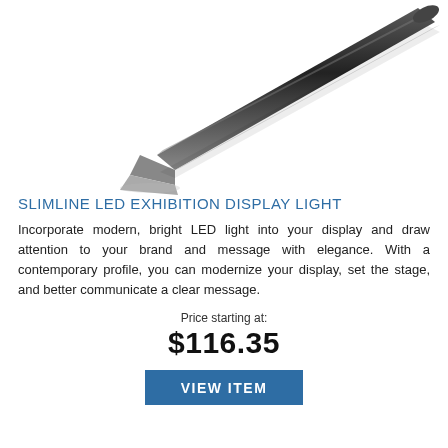[Figure (photo): Photo of a slimline LED exhibition display light, showing a sleek dark-colored angled arm/rail fixture against a white background.]
SLIMLINE LED EXHIBITION DISPLAY LIGHT
Incorporate modern, bright LED light into your display and draw attention to your brand and message with elegance. With a contemporary profile, you can modernize your display, set the stage, and better communicate a clear message.
Price starting at: $116.35
VIEW ITEM